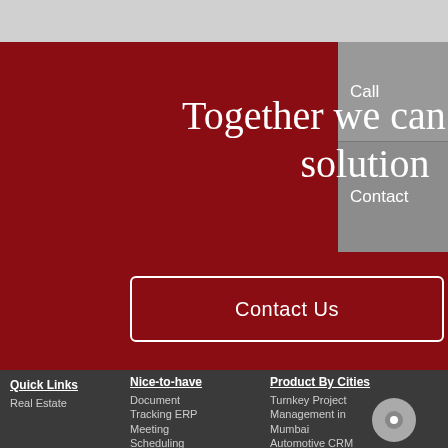Together we can find a solution
Contact Us
Call
Contact
Quick Links
Nice-to-have
Product By Cities
Real Estate
Document Tracking ERP
Meeting Scheduling Tool
Turnkey Project Management in Mumbai
Automotive CRM Software in Mumbai Mobility